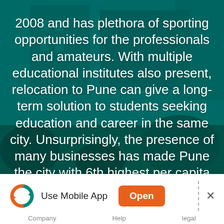[Figure (photo): Teal-tinted background photo of an outdoor area with buildings, trees, and shrubbery.]
2008 and has plethora of sporting opportunities for the professionals and amateurs. With multiple educational institutes also present, relocation to Pune can give a long-term solution to students seeking education and career in the same city. Unsurprisingly, the presence of many businesses has made Pune the city with 6th highest per capita income in the country.
[Figure (screenshot): Mobile app banner at the bottom of the page with a logo, 'Use Mobile App' text, an orange 'Open' button, a dashed divider, and a close (×) button.]
Company   Help   legal